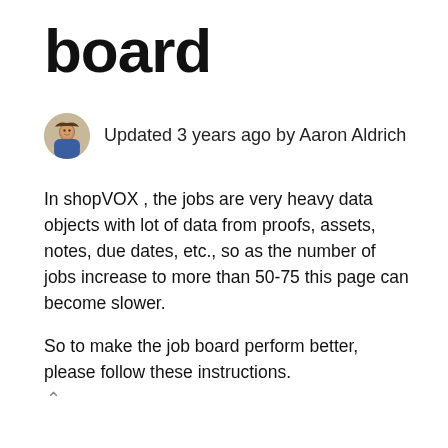board
Updated 3 years ago by Aaron Aldrich
In shopVOX , the jobs are very heavy data objects with lot of data from proofs, assets, notes, due dates, etc., so as the number of jobs increase to more than 50-75 this page can become slower.
So to make the job board perform better, please follow these instructions.
Here are the steps on what you can do.